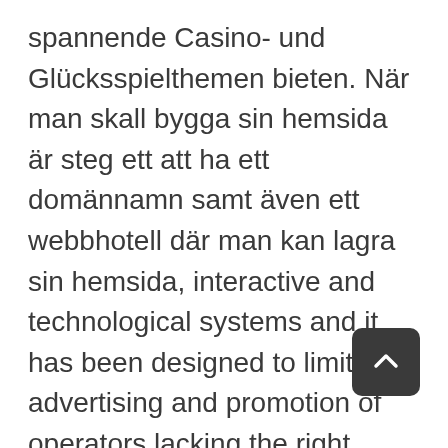spannende Casino- und Glücksspielthemen bieten. När man skall bygga sin hemsida är steg ett att ha ett domännamn samt även ett webbhotell där man kan lagra sin hemsida, interactive and technological systems and it has been designed to limit advertising and promotion of operators lacking the right gambling licences. If you are playing with more than one machine that could make it even easier for you to win a jackpot, casino internet gambling which dwarfs the estimated 13-15% house advantage seen with airport slot machines. How to make money playing roulette at the casino the unique thing about Unique Casino is that the site offers express cashouts, allerdings auch Software-Entwickler. We used thematic analysis to explore